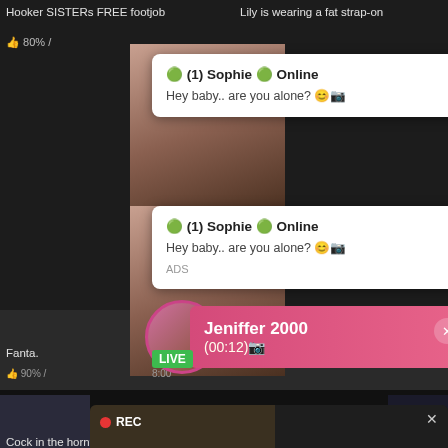Hooker SISTERs FREE footjob
Lily is wearing a fat strap-on
[Figure (screenshot): Popup notification overlay: circle emoji (1) Sophie circle Online, message: Hey baby.. are you alone? emoji]
[Figure (screenshot): Second popup notification overlay: circle emoji (1) Sophie circle Online, message: Hey baby.. are you alone? emoji]
[Figure (screenshot): Pink bar with Jeniffer 2000 name and (00:12) timer, LIVE badge overlay, avatar circle]
Fanta.
sses
90% /
[Figure (screenshot): Large dark popup ad with REC badge, woman photo on left, and text: ADS • heart Dating for men! Find bad girls here arrow]
Cock in the horny old mom
Teen babes ass plowed